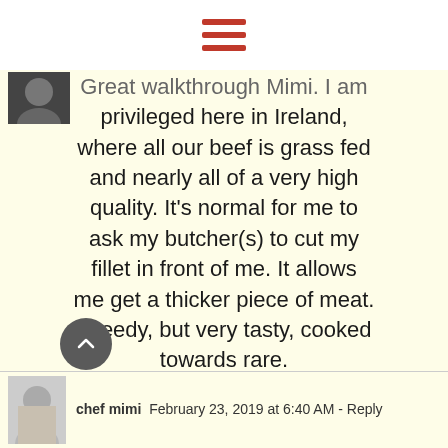[Figure (other): Hamburger menu icon with three horizontal red bars on white background]
[Figure (photo): Small square avatar photo of a person, partially visible, dark tones]
Great walkthrough Mimi. I am privileged here in Ireland, where all our beef is grass fed and nearly all of a very high quality. It's normal for me to ask my butcher(s) to cut my fillet in front of me. It allows me get a thicker piece of meat. Greedy, but very tasty, cooked towards rare.
[Figure (other): Gray circular scroll-to-top button with upward chevron arrow]
[Figure (photo): Small avatar photo of chef mimi, a woman with light hair]
chef mimi  February 23, 2019 at 6:40 AM · Reply